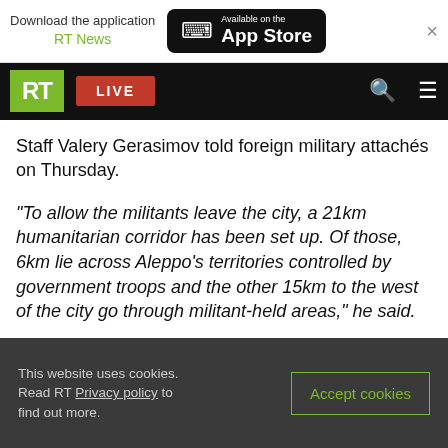Download the application RT News — Available on the App Store
RT LIVE
The operation to evacuate the militants and their
Staff Valery Gerasimov told foreign military attachés on Thursday.
“To allow the militants leave the city, a 21km humanitarian corridor has been set up. Of those, 6km lie across Aleppo's territories controlled by government troops and the other 15km to the west of the city go through militant-held areas,” he said.
[Figure (photo): Dark media block / video thumbnail]
This website uses cookies. Read RT Privacy policy to find out more. [Accept cookies button]